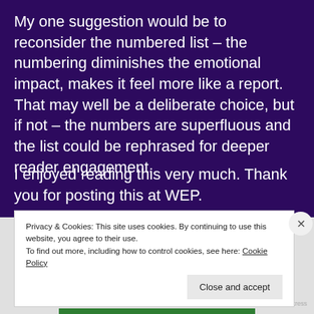My one suggestion would be to reconsider the numbered list – the numbering diminishes the emotional impact, makes it feel more like a report. That may well be a deliberate choice, but if not – the numbers are superfluous and the list could be rephrased for deeper reader engagement.
I enjoyed reading this very much. Thank you for posting this at WEP.
Privacy & Cookies: This site uses cookies. By continuing to use this website, you agree to their use.
To find out more, including how to control cookies, see here: Cookie Policy